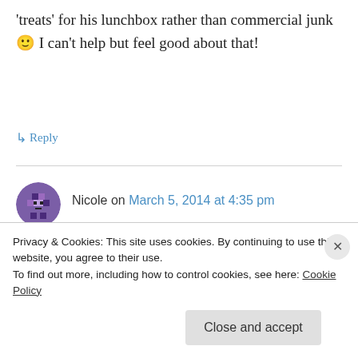'treats' for his lunchbox rather than commercial junk 🙂 I can't help but feel good about that!
↳ Reply
Nicole on March 5, 2014 at 4:35 pm
I would like to give a shout out to Persia Belle Cafe in Collaroy Plateau on the northern beaches- best coffee and fresh tasty food!
↳ Reply
Privacy & Cookies: This site uses cookies. By continuing to use this website, you agree to their use.
To find out more, including how to control cookies, see here: Cookie Policy
Close and accept